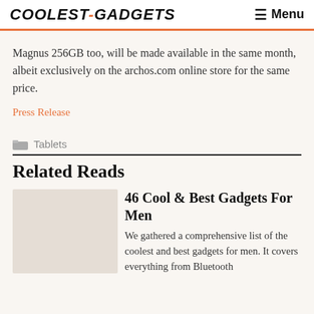COOLEST-GADGETS  ☰ Menu
Magnus 256GB too, will be made available in the same month, albeit exclusively on the archos.com online store for the same price.
Press Release
Tablets
Related Reads
46 Cool & Best Gadgets For Men
We gathered a comprehensive list of the coolest and best gadgets for men. It covers everything from Bluetooth